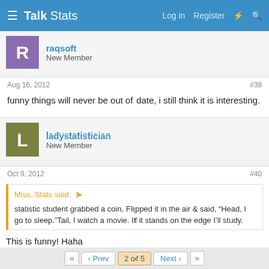Talk Stats | Log in | Register
raqsoft
New Member
Aug 16, 2012    #39
funny things will never be out of date, i still think it is interesting.
ladystatistician
New Member
Oct 9, 2012    #40
Miss..Stats said:
statistic student grabbed a coin, Flipped it in the air & said, “Head, I go to sleep.”Tail, I watch a movie. If it stands on the edge I’ll study.
This is funny! Haha
«  ‹ Prev  2 of 5  Next ›  »